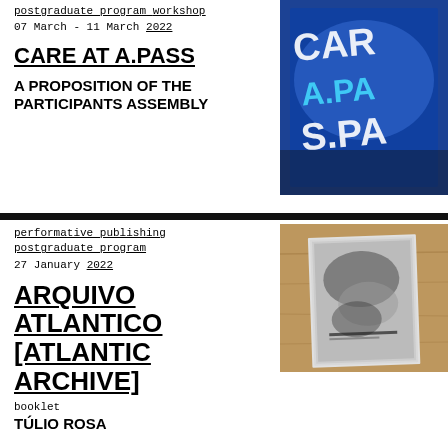postgraduate program workshop
07 March - 11 March 2022
CARE AT A.PASS
A PROPOSITION OF THE PARTICIPANTS ASSEMBLY
[Figure (photo): Photo with neon letters spelling out 'CARE AT A.PASS' on a blue background]
performative publishing postgraduate program
27 January 2022
ARQUIVO ATLANTICO [ATLANTIC ARCHIVE]
booklet
TÚLIO ROSA
[Figure (photo): Photo of a booklet/publication on a wooden surface, black and white cover]